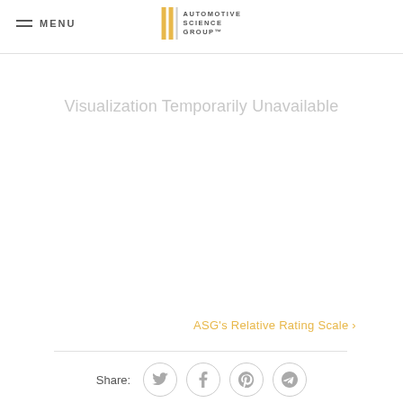MENU | AUTOMOTIVE SCIENCE GROUP
Visualization Temporarily Unavailable
ASG's Relative Rating Scale >
[Figure (other): Social share icons: Twitter, Facebook, Pinterest, Send/Telegram — circular icon buttons with thin gray borders]
Share: